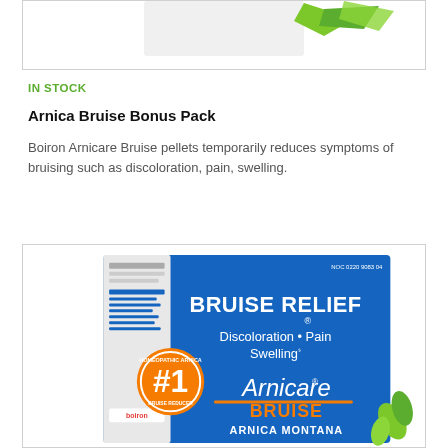[Figure (photo): Partial view of a product box with green leaf/arrow design on white background, top portion cropped]
IN STOCK
Arnica Bruise Bonus Pack
Boiron Arnicare Bruise pellets temporarily reduces symptoms of bruising such as discoloration, pain, swelling.
[Figure (photo): Boiron Arnicare Bruise product box — blue box with text: BRUISE RELIEF, Discoloration • Pain Swelling, Arnicare BRUISE ARNICA MONTANA, #1 Homeopathic Arnica Bruise Reducer badge, NOC 0220 9083 04]